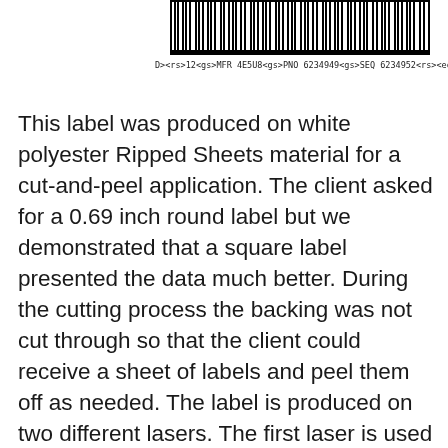[Figure (other): Barcode label showing machine-readable code in black and white barcode strip]
D><rs>12<gs>MFR 4E5U8<gs>PNO 6234949<gs>SEQ 6234952<rs><eot>
This label was produced on white polyester Ripped Sheets material for a cut-and-peel application. The client asked for a 0.69 inch round label but we demonstrated that a square label presented the data much better. During the cutting process the backing was not cut through so that the client could receive a sheet of labels and peel them off as needed. The label is produced on two different lasers. The first laser is used to create the text and the second laser is used to cut the label from the sheet. The machine-readable code uses TEI format.